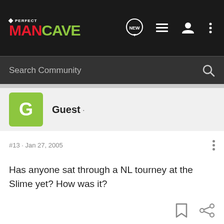Perfect Man Cave - navigation header with logo, new, list, user, and more icons
Search Community
Guest ·
#13 · Jan 27, 2005
Has anyone sat through a NL tourney at the Slime yet? How was it?